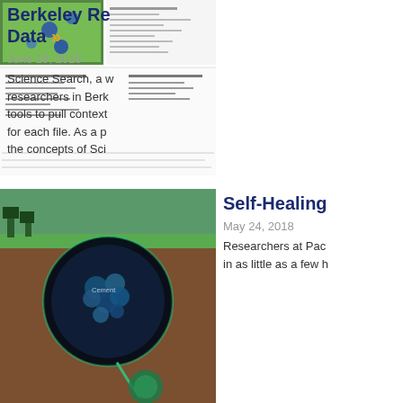[Figure (screenshot): Partially visible article image showing scientific data visualization with green tones and a table/spreadsheet below]
Berkeley Re… Data »
June 19, 2018
Science Search, a w… researchers in Berk… tools to pull context… for each file. As a p… the concepts of Sci…
[Figure (illustration): Scientific illustration showing underground cement layers with circular cellular structures, labeled 'Self-Healing' article thumbnail]
Self-Healing…
May 24, 2018
Researchers at Pac… in as little as a few h…
[Figure (illustration): Scientific illustration showing graphene lattice with heat waves and colored surface plot, article thumbnail for Quarterback article]
Quarterback…
April 18, 2018
Materials science re… along with calculatio… graphene into a uni…
[Figure (photo): Partially visible photo/illustration in dark blue tones for Tiny Distorti… article]
Tiny Distorti…